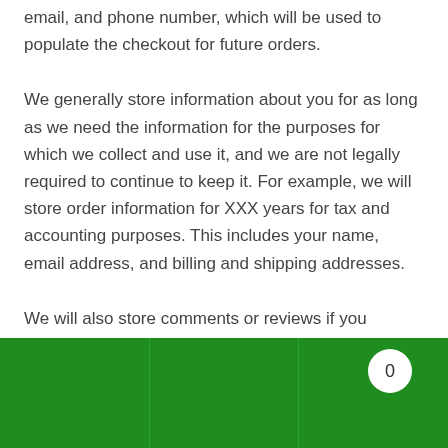email, and phone number, which will be used to populate the checkout for future orders.
We generally store information about you for as long as we need the information for the purposes for which we collect and use it, and we are not legally required to continue to keep it. For example, we will store order information for XXX years for tax and accounting purposes. This includes your name, email address, and billing and shipping addresses.
We will also store comments or reviews if you choose to leave them.